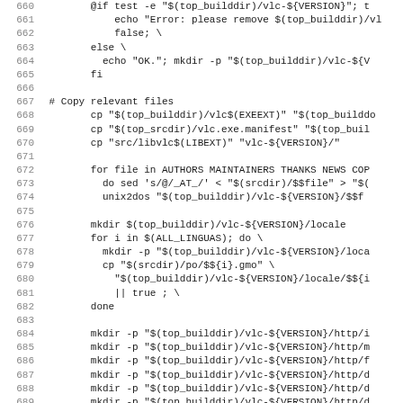Source code / Makefile excerpt, lines 660–691
660    @if test -e "$(top_builddir)/vlc-${VERSION}"; t
661        echo "Error: please remove $(top_builddir)/vl
662        false; \
663    else \
664        echo "OK."; mkdir -p "$(top_builddir)/vlc-${V
665    fi
666
667 # Copy relevant files
668        cp "$(top_builddir)/vlc$(EXEEXT)" "$(top_builddo
669        cp "$(top_srcdir)/vlc.exe.manifest" "$(top_buil
670        cp "src/libvlc$(LIBEXT)" "vlc-${VERSION}/"
671
672        for file in AUTHORS MAINTAINERS THANKS NEWS COP
673          do sed 's/@/_AT_/' < "$(srcdir)/$$file" > "$(
674          unix2dos "$(top_builddir)/vlc-${VERSION}/$$f
675
676        mkdir $(top_builddir)/vlc-${VERSION}/locale
677        for i in $(ALL_LINGUAS); do \
678          mkdir -p "$(top_builddir)/vlc-${VERSION}/loca
679          cp "$(srcdir)/po/$${i}.gmo" \
680            "$(top_builddir)/vlc-${VERSION}/locale/$${i
681            || true ; \
682        done
683
684        mkdir -p "$(top_builddir)/vlc-${VERSION}/http/i
685        mkdir -p "$(top_builddir)/vlc-${VERSION}/http/m
686        mkdir -p "$(top_builddir)/vlc-${VERSION}/http/f
687        mkdir -p "$(top_builddir)/vlc-${VERSION}/http/d
688        mkdir -p "$(top_builddir)/vlc-${VERSION}/http/d
689        mkdir -p "$(top_builddir)/vlc-${VERSION}/http/d
690        mkdir -p "$(top_builddir)/vlc-${VERSION}/http/d
691        cp $(srcdir)/share/http/*.html $(top_buildddir/